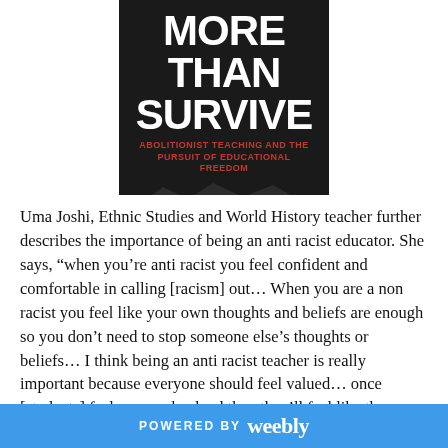[Figure (illustration): Book cover of 'More Than Survive: Abolitionist Teaching and the Pursuit of Educational Freedom' by Bettina L. Love. Dark background with large white bold title text, red subtitle, mountain silhouette graphic, and gold author name.]
Uma Joshi, Ethnic Studies and World History teacher further describes the importance of being an anti racist educator. She says, “when you’re anti racist you feel confident and comfortable in calling [racism] out… When you are a non racist you feel like your own thoughts and beliefs are enough so you don’t need to stop someone else’s thoughts or beliefs… I think being an anti racist teacher is really important because everyone should feel valued… once [students] feel seen and valued then they’ll feel like they can engage in this person’s class because they can trust
POWERED BY weebly